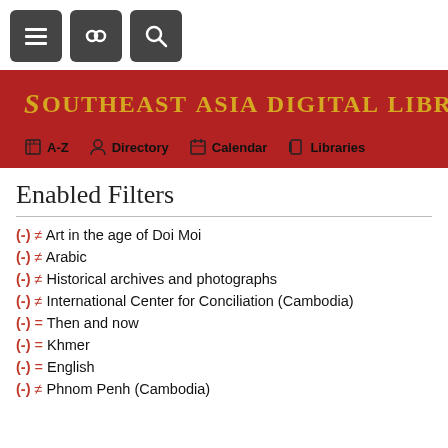[Figure (screenshot): Top navigation bar with three dark rounded buttons: hamburger menu, link/chain icon, and search icon]
[Figure (screenshot): Red banner header with 'Southeast Asia Digital Library' title in gold serif font and dragon icon, with navigation links A-Z, Directory, Calendar, Libraries]
Enabled Filters
(-) ≠ Art in the age of Doi Moi
(-) ≠ Arabic
(-) ≠ Historical archives and photographs
(-) ≠ International Center for Conciliation (Cambodia)
(-) = Then and now
(-) = Khmer
(-) = English
(-) ≠ Phnom Penh (Cambodia)